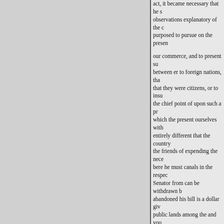act, it became necessary that he s observations explanatory of the c purposed to pursue on the presen our commerce, and to present su between er to foreign nations, tha that they were citizens, or to insu the chief point of upon such a pr which the present ourselves with entirely different that the country the friends of expending the nece bere he must canals in the respec Senator from can be withdrawn b abandoned his bill is a dollar giv public lands among the and you infinitely preferred that untagoniz before the Senate. of the powers of the Federal Gov paralyze the energies of this Gov it to almost the same feeble cond placed under the old articles of c the Senator from South Carolina sur. has he denied, that this woul here to? Under its operation